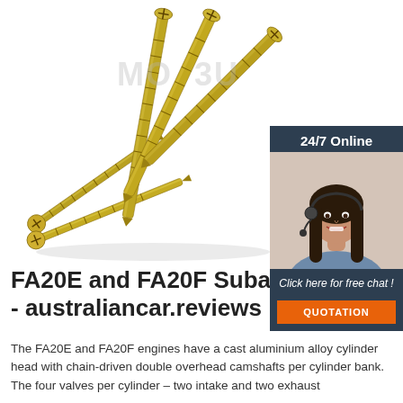[Figure (photo): Photo of multiple gold/yellow zinc-plated wood screws arranged in a fan-like pattern on a white background, with a watermark text 'MO...3U' overlaid]
[Figure (photo): Advertisement panel showing a woman with a headset smiling, with dark blue header '24/7 Online', italic text 'Click here for free chat!', and an orange button labeled 'QUOTATION']
FA20E and FA20F Subaru Engines - australiancar.reviews
The FA20E and FA20F engines have a cast aluminium alloy cylinder head with chain-driven double overhead camshafts per cylinder bank. The four valves per cylinder – two intake and two exhaust